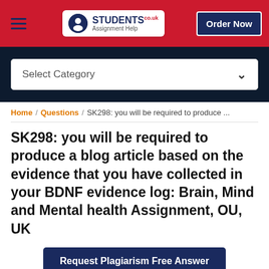[Figure (screenshot): Website header with red background, hamburger menu icon, Students Assignment Help co.uk logo in white box, and dark blue 'Order Now' button]
[Figure (screenshot): Dark navy band with white rounded rectangle dropdown labeled 'Select Category' with chevron]
Home / Questions / SK298: you will be required to produce ...
SK298: you will be required to produce a blog article based on the evidence that you have collected in your BDNF evidence log: Brain, Mind and Mental health Assignment, OU, UK
Request Plagiarism Free Answer